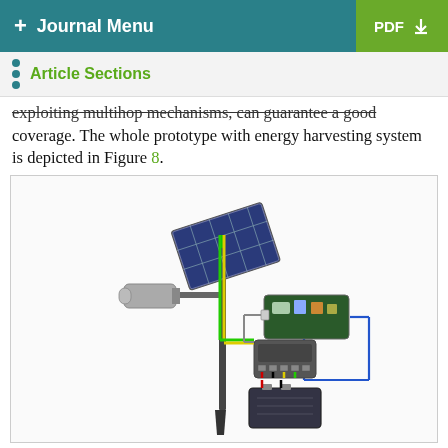+ Journal Menu   PDF ↓
Article Sections
exploring multihop mechanisms, can guarantee a good coverage. The whole prototype with energy harvesting system is depicted in Figure 8.
[Figure (engineering-diagram): Diagram of a prototype energy harvesting system mounted on a pole, showing a solar panel at the top connected via green and yellow cables to a camera, a microcontroller/circuit board (connected via blue cables), a charge controller, and a battery at the bottom.]